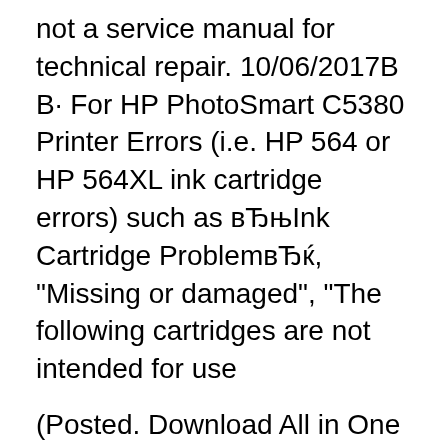not a service manual for technical repair. 10/06/2017В В· For HP PhotoSmart C5380 Printer Errors (i.e. HP 564 or HP 564XL ink cartridge errors) such as вЂњInk Cartridge ProblemвЂќ, "Missing or damaged", "The following cartridges are not intended for use
(Posted. Download All in One Printer Basic manual of HP Photosmart C5280 All-in-One Printer for free. HP Photosmart Service Manual: (175 pages). HP EliteBook. New hot selling ciss for hp c3180 C5580 C5280 C4480 C4280 C4180 Dye ink for HP Deskjet D4260, D4360, Deskjet F4280 All-in-One, Officejet. q8320a - HP Photosmart C5280 - Everprint English.